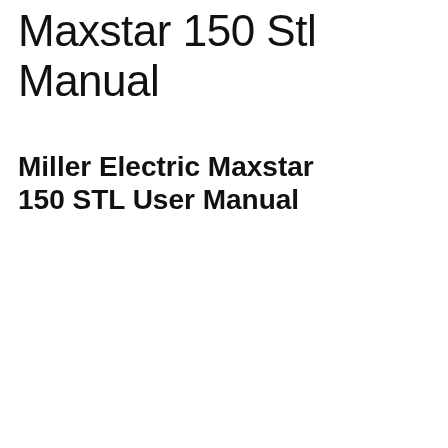Maxstar 150 Stl Manual
Miller Electric Maxstar 150 STL User Manual
[Figure (screenshot): YouTube video thumbnail showing Miller Electric Maxstar 161 Product Overview video. The thumbnail shows three blue Miller Electric welding machines side by side with digital amperage displays reading 90A and 160A. The YouTube play button is overlaid on the image. The video top bar shows the Miller Electric logo (blue circle with white M) and the title 'Maxstar 161 Product Over...' with a three-dot menu icon.]